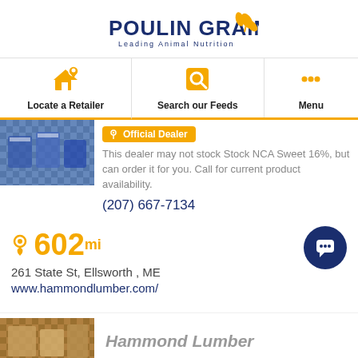[Figure (logo): Poulin Grain logo with wheat icon and tagline 'Leading Animal Nutrition']
Locate a Retailer | Search our Feeds | Menu
[Figure (photo): Dealer store photo thumbnail]
Official Dealer
This dealer may not stock Stock NCA Sweet 16%, but can order it for you. Call for current product availability.
(207) 667-7134
602 mi
261 State St, Ellsworth , ME
www.hammondlumber.com/
[Figure (photo): Hammond Lumber store photo thumbnail]
Hammond Lumber